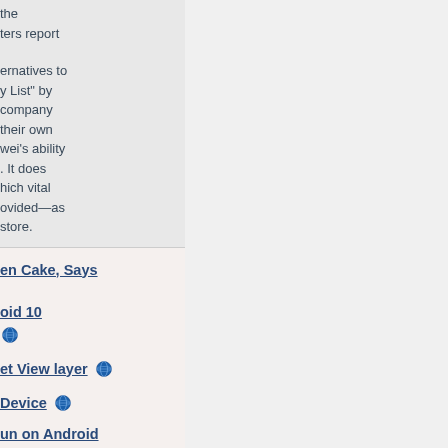the
ters report
ernatives to
y List" by
company
their own
wei's ability
. It does
hich vital
ovided—as
store.
en Cake, Says
oid 10
🌐
et View layer 🌐
Device 🌐
un on Android